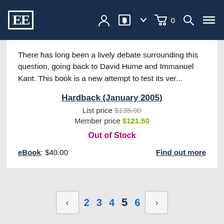EE [logo] navigation bar with account, currency, cart, search, menu icons
There has long been a lively debate surrounding this question, going back to David Hume and Immanuel Kant. This book is a new attempt to test its ver...
Hardback (January 2005)
List price $135.00
Member price $121.50
Out of Stock
eBook: $40.00
Find out more
< 2 3 4 5 6 >